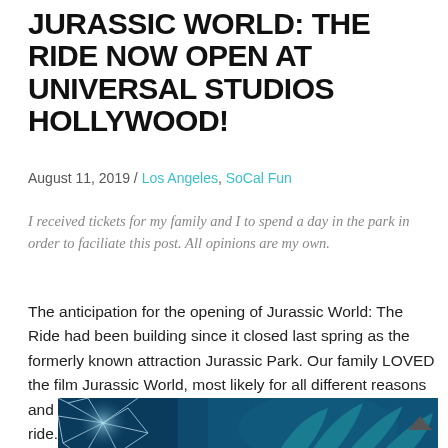JURASSIC WORLD: THE RIDE NOW OPEN AT UNIVERSAL STUDIOS HOLLYWOOD!
August 11, 2019 / Los Angeles, SoCal Fun
I received tickets for my family and I to spend a day in the park in order to faciliate this post. All opinions are my own.
The anticipation for the opening of Jurassic World: The Ride had been building since it closed last spring as the formerly known attraction Jurassic Park. Our family LOVED the film Jurassic World, most likely for all different reasons and so we couldn't wait to visit and ride this newly imagined ride.
[Figure (photo): A dramatic blue-tinted photo showing what appears to be a dinosaur claw or talon and cracked glass/ice effect from the Jurassic World ride at Universal Studios Hollywood.]